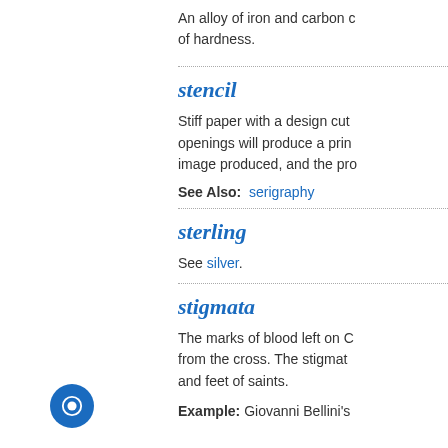An alloy of iron and carbon c of hardness.
stencil
Stiff paper with a design cut openings will produce a prin image produced, and the pro
See Also: serigraphy
sterling
See silver.
stigmata
The marks of blood left on C from the cross. The stigmat and feet of saints.
Example: Giovanni Bellini's